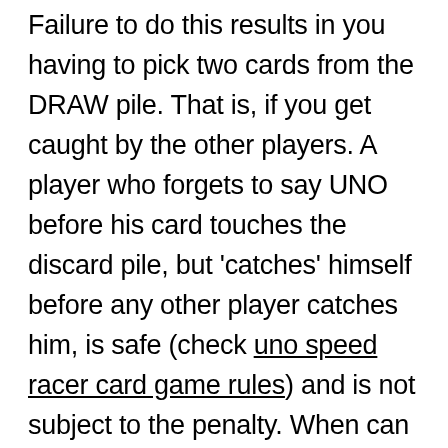Failure to do this results in you having to pick two cards from the DRAW pile. That is, if you get caught by the other players. A player who forgets to say UNO before his card touches the discard pile, but 'catches' himself before any other player catches him, is safe (check uno speed racer card game rules) and is not subject to the penalty. When can you play Draw 4 in UNO? According to the official rules of UNO, 'when you play this card (Wild Draw 4 Card), you get to choose the colour that continues play plus the next player must draw 4 cards from the draw pile and lose their turn.